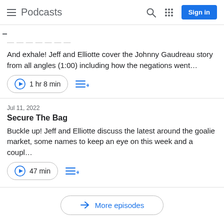Podcasts
And exhale! Jeff and Elliotte cover the Johnny Gaudreau story from all angles (1:00) including how the negations went…
1 hr 8 min
Jul 11, 2022
Secure The Bag
Buckle up! Jeff and Elliotte discuss the latest around the goalie market, some names to keep an eye on this week and a coupl…
47 min
More episodes